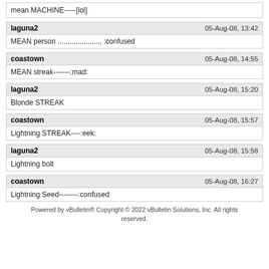mean MACHINE-----[lol]
laguna2 | 05-Aug-08, 13:42 | MEAN person ...................... :confused
coastown | 05-Aug-08, 14:55 | MEAN streak-------:mad:
laguna2 | 05-Aug-08, 15:20 | Blonde STREAK
coastown | 05-Aug-08, 15:57 | Lightning STREAK----:eek:
laguna2 | 05-Aug-08, 15:58 | Lightning bolt
coastown | 05-Aug-08, 16:27 | Lightning Seed--------:confused
Powered by vBulletin® Copyright © 2022 vBulletin Solutions, Inc. All rights reserved.